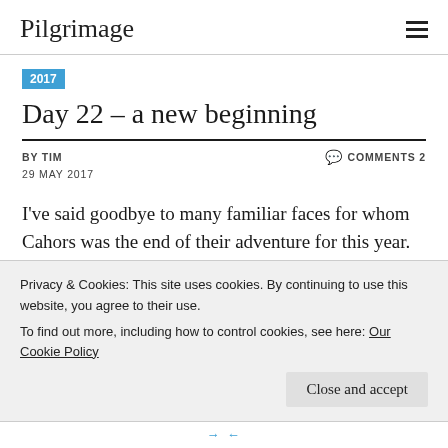Pilgrimage
2017
Day 22 – a new beginning
BY TIM
29 MAY 2017
COMMENTS 2
I've said goodbye to many familiar faces for whom Cahors was the end of their adventure for this year.
Some new faces were taking breakfast in the hotel, in
Privacy & Cookies: This site uses cookies. By continuing to use this website, you agree to their use.
To find out more, including how to control cookies, see here: Our Cookie Policy
Close and accept